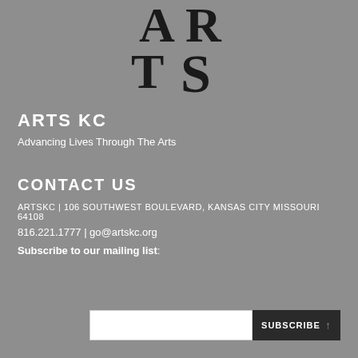[Figure (logo): ARTS KC logo — large stylized stacked letters A, R, T, S in dark/black serif font on grey background, partially cropped at top]
ARTS KC
Advancing Lives Through The Arts
CONTACT US
ARTSKC | 106 SOUTHWEST BOULEVARD, KANSAS CITY MISSOURI 64108
816.221.1777 | go@artskc.org
Subscribe to our mailing list:
[Figure (other): Email input field (white rectangle) and SUBSCRIBE button (dark/black background with white text and upward arrow icon)]